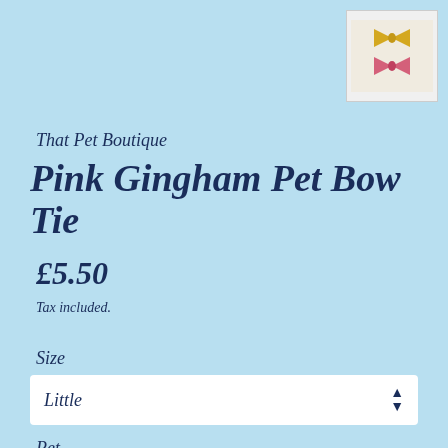[Figure (photo): Small thumbnail image showing two bow ties, one yellow/gold and one pink, on a white background]
That Pet Boutique
Pink Gingham Pet Bow Tie
£5.50
Tax included.
Size
Little
Pet